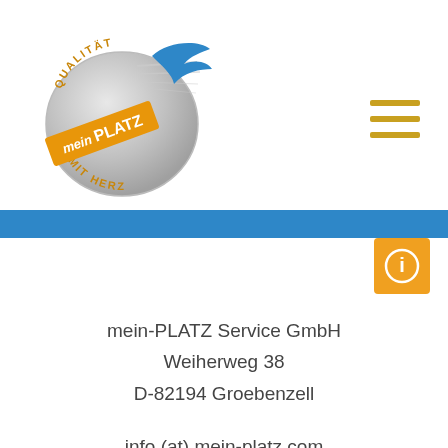[Figure (logo): mein PLATZ logo with circular silver medal reading QUALITAT MIT HERZ and a blue swoosh/bird shape, with orange diagonal banner reading 'mein PLATZ']
[Figure (other): Hamburger menu icon — three horizontal orange lines stacked]
[Figure (other): Blue horizontal banner bar]
[Figure (other): Orange square info button with white circle-i icon]
mein-PLATZ Service GmbH
Weiherweg 38
D-82194 Groebenzell
info (at) mein-platz.com
www.mein-platz.com